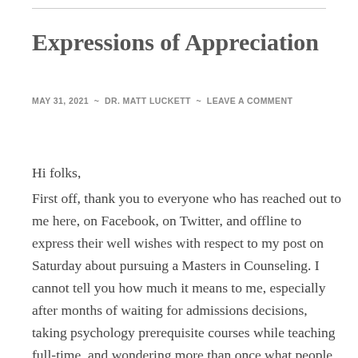Expressions of Appreciation
MAY 31, 2021 ~ DR. MATT LUCKETT ~ LEAVE A COMMENT
Hi folks, First off, thank you to everyone who has reached out to me here, on Facebook, on Twitter, and offline to express their well wishes with respect to my post on Saturday about pursuing a Masters in Counseling. I cannot tell you how much it means to me, especially after months of waiting for admissions decisions, taking psychology prerequisite courses while teaching full-time, and wondering more than once what people